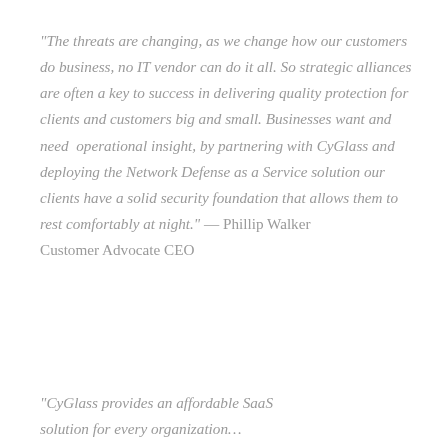“The threats are changing, as we change how our customers do business, no IT vendor can do it all. So strategic alliances are often a key to success in delivering quality protection for clients and customers big and small. Businesses want and need  operational insight, by partnering with CyGlass and deploying the Network Defense as a Service solution our clients have a solid security foundation that allows them to rest comfortably at night.” — Phillip Walker Customer Advocate CEO
“CyGlass provides an affordable SaaS solution for every organization…